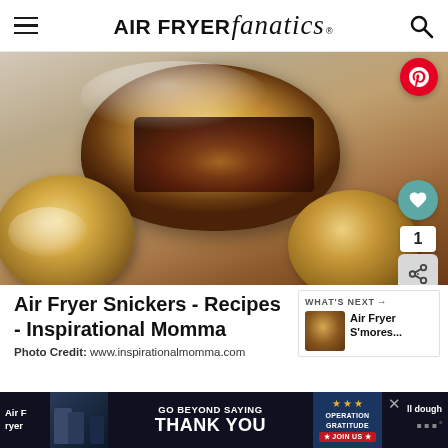AIR FRYER fanatics
[Figure (photo): Close-up photo of an air fryer Snickers roll cut in half, showing chocolate-caramel-nut filling inside a golden pastry shell dusted with powdered sugar. More pastry balls visible in background.]
Air Fryer Snickers - Recipes - Inspirational Momma
WHAT'S NEXT → Air Fryer S'mores...
Photo Credit: www.inspirationalmomma.com
[Figure (infographic): Advertisement banner: GO BEYOND SAYING THANK YOU – OPERATION GRATITUDE – JOIN US. Dark navy background with people in military uniforms on left side. Red, white and blue patriotic design.]